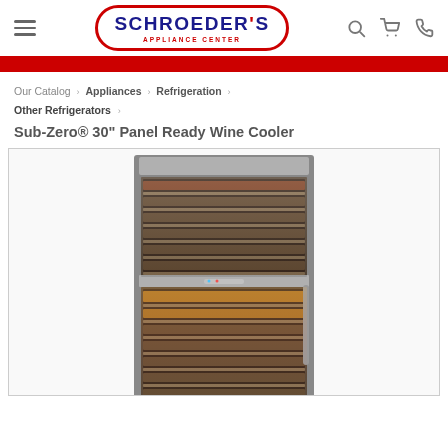Schroeder's Appliance Center - navigation header
Our Catalog › Appliances › Refrigeration › Other Refrigerators ›
Sub-Zero® 30" Panel Ready Wine Cooler
[Figure (photo): Sub-Zero 30 inch Panel Ready Wine Cooler product photo showing a tall wine refrigerator with multiple wooden shelves stocked with wine bottles, stainless steel framing, and two temperature zones.]